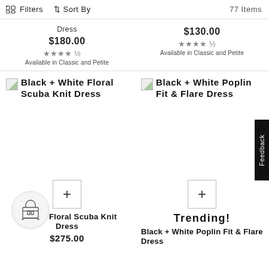Filters  Sort By  77 Items
Dress
$180.00
★★★★½
Available in Classic and Petite
$130.00
★★★★½
Available in Classic and Petite
Black + White Floral Scuba Knit Dress
Black + White Poplin Fit & Flare Dress
+ White Floral Scuba Knit Dress
$275.00
Trending!
Black + White Poplin Fit & Flare Dress